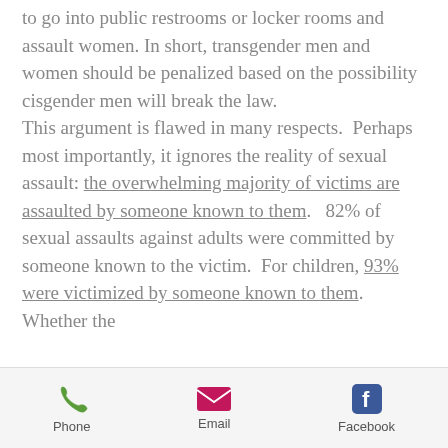to go into public restrooms or locker rooms and assault women. In short, transgender men and women should be penalized based on the possibility cisgender men will break the law.

This argument is flawed in many respects.  Perhaps most importantly, it ignores the reality of sexual assault: the overwhelming majority of victims are assaulted by someone known to them.   82% of sexual assaults against adults were committed by someone known to the victim.  For children, 93% were victimized by someone known to them.  Whether the
Phone  Email  Facebook